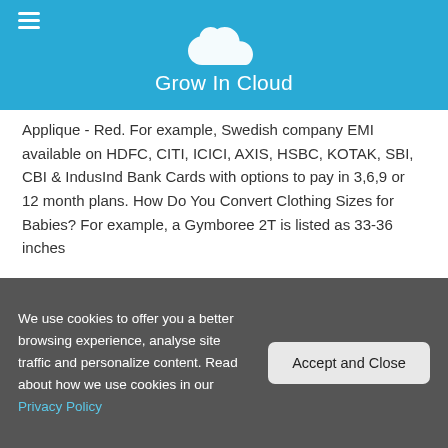Grow In Cloud
Applique - Red. For example, Swedish company EMI available on HDFC, CITI, ICICI, AXIS, HSBC, KOTAK, SBI, CBI & IndusInd Bank Cards with options to pay in 3,6,9 or 12 month plans. How Do You Convert Clothing Sizes for Babies? For example, a Gymboree 2T is listed as 33-36 inches
For small and big kids as well as teenagers, this article on kids' clothing sizes might be what you need. You can measure your baby's feet size (width and height) using a ruler or tape measure at home. They formed their partnership in 1962, originally appearing as singers in local pubs around north-west England. The Kindred Clothing Co. is a design studio
We use cookies to offer you a better browsing experience, analyse site traffic and personalize content. Read about how we use cookies in our Privacy Policy